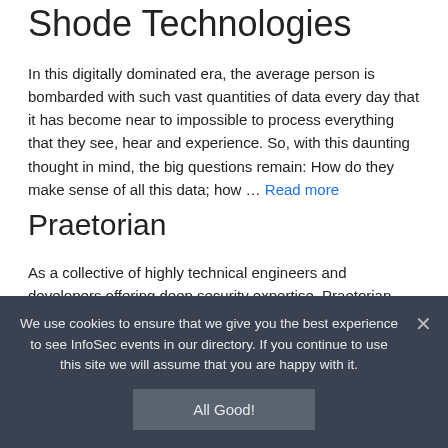Shode Technologies
In this digitally dominated era, the average person is bombarded with such vast quantities of data every day that it has become near to impossible to process everything that they see, hear and experience. So, with this daunting thought in mind, the big questions remain: How do they make sense of all this data; how … Read more
Praetorian
As a collective of highly technical engineers and developers offering deep security expertise, Praetorian solves the toughest challenges faced by today's leading organizations
We use cookies to ensure that we give you the best experience to see InfoSec events in our directory. If you continue to use this site we will assume that you are happy with it.
All Good!